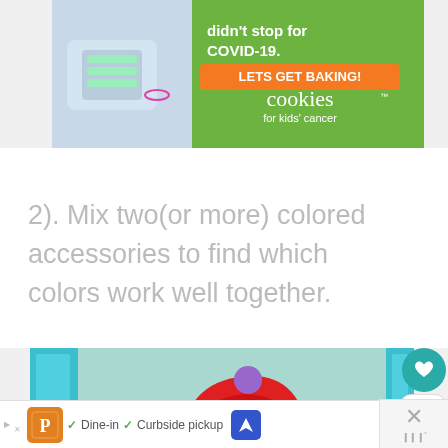[Figure (photo): Advertisement banner for 'Cookies for Kids' Cancer' charity with green background, person holding money, orange CTA button 'LETS GET BAKING!', and cookies logo]
2). Mix two(or more) colored accessories to find which colors work well together.
[Figure (photo): Photo of colorful craft accessories including a felt red hat with purple pompom on a teal background]
[Figure (other): Bottom advertisement bar with restaurant logo, Dine-in and Curbside pickup options, navigation icon, and close button with Weatherbug icon]